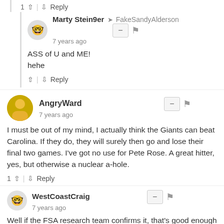1 ↑ | ↓ Reply
Marty Stein9er → FakeSandyAlderson
7 years ago
ASS of U and ME!
hehe
↑ | ↓ Reply
AngryWard
7 years ago
I must be out of my mind, I actually think the Giants can beat Carolina. If they do, they will surely then go and lose their final two games. I've got no use for Pete Rose. A great hitter, yes, but otherwise a nuclear a-hole.
1 ↑ | ↓ Reply
WestCoastCraig
7 years ago
Well if the FSA research team confirms it, that's good enough for me!
1 ↑ | ↓ Reply
FakeSandyAlderson → WestCoastCraig